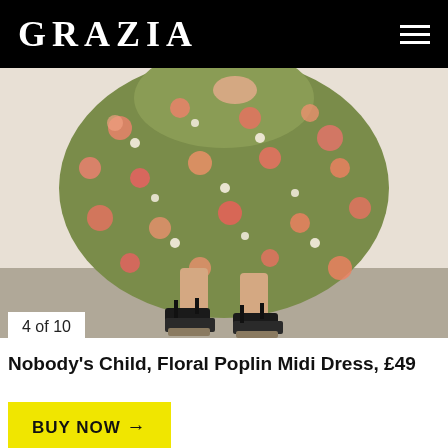GRAZIA
[Figure (photo): Model wearing a floral poplin midi dress in green and coral/peach tones with small flowers, paired with black espadrille wedge heels. The photo shows the lower body from waist down.]
4 of 10
Nobody's Child, Floral Poplin Midi Dress, £49
BUY NOW →